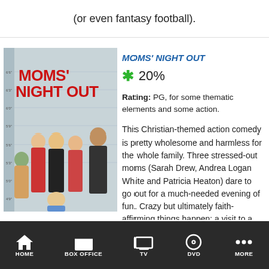(or even fantasy football).
[Figure (photo): Movie poster for Moms' Night Out showing cast in a mugshot-style lineup]
MOMS' NIGHT OUT
✱ 20%
Rating: PG, for some thematic elements and some action.
This Christian-themed action comedy is pretty wholesome and harmless for the whole family. Three stressed-out moms (Sarah Drew, Andrea Logan White and Patricia Heaton) dare to go out for a much-needed evening of fun. Crazy but ultimately faith-affirming things happen: a visit to a tattoo parlor, a
HOME   BOX OFFICE   TV   DVD   MORE